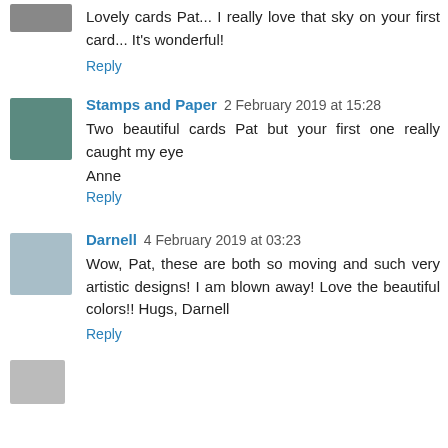[Figure (photo): Partial avatar photo at top, cropped]
Lovely cards Pat... I really love that sky on your first card... It's wonderful!
Reply
[Figure (photo): Avatar photo of woman smiling]
Stamps and Paper 2 February 2019 at 15:28
Two beautiful cards Pat but your first one really caught my eye

Anne
Reply
[Figure (photo): Avatar photo of person with dog]
Darnell 4 February 2019 at 03:23
Wow, Pat, these are both so moving and such very artistic designs! I am blown away! Love the beautiful colors!! Hugs, Darnell
Reply
[Figure (photo): Partial avatar at bottom, cropped]